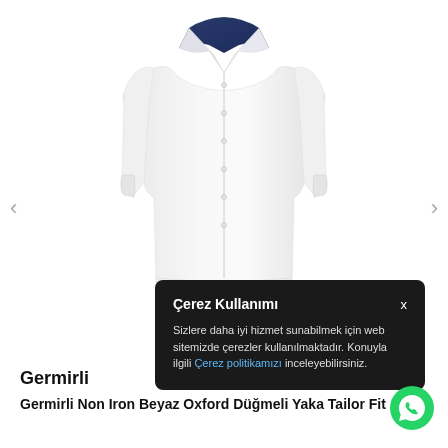[Figure (photo): White long-sleeve button-up Oxford shirt displayed on a light background]
Çerez Kullanımı
Sizlere daha iyi hizmet sunabilmek için web sitemizde çerezler kullanılmaktadır. Konuyla ilgili Çerez politikamızı inceleyebilirsiniz.
Germirli
Germirli Non Iron Beyaz Oxford Düğmeli Yaka Tailor Fit